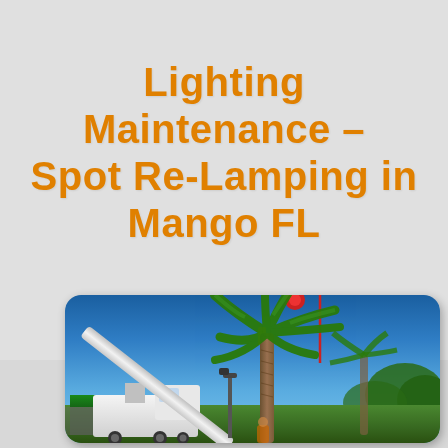Lighting Maintenance – Spot Re-Lamping in Mango FL
[Figure (photo): A white crane truck with an extended boom arm reaching up into a tall palm tree against a clear blue sky. The scene is in Mango, FL and shows workers performing spot re-lamping lighting maintenance on or near the palm tree. A green-roofed building is visible in the background at lower left, along with other vegetation and a street light pole.]